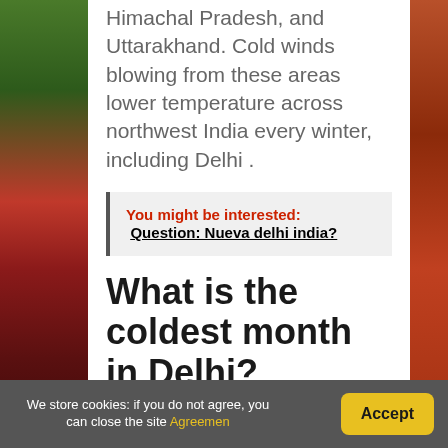Himachal Pradesh, and Uttarakhand. Cold winds blowing from these areas lower temperature across northwest India every winter, including Delhi .
You might be interested:  Question: Nueva delhi india?
What is the coldest month in Delhi?
The coldest month is January with an
We store cookies: if you do not agree, you can close the site Agreemen